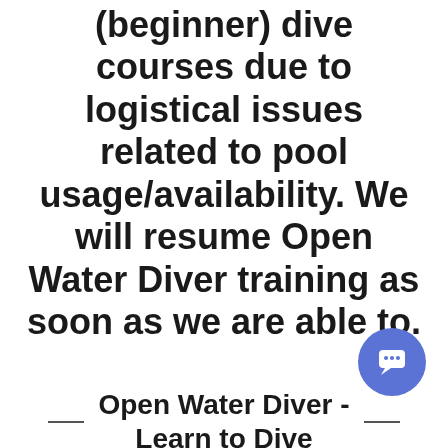(beginner) dive courses due to logistical issues related to pool usage/availability. We will resume Open Water Diver training as soon as we are able to.
Open Water Diver - Learn to Dive
DESCRIPTION
The Open Water Diver Course is the first and most